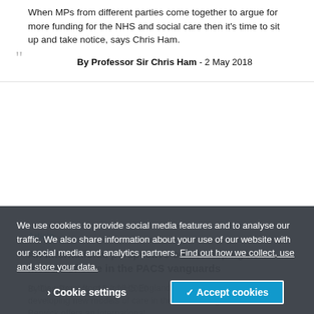When MPs from different parties come together to argue for more funding for the NHS and social care then it's time to sit up and take notice, says Chris Ham.
By Professor Sir Chris Ham - 2 May 2018
Article
An international perspective on developing new models of care in the PACS vanguards
In this extract from our NHS England-commissioned report on developing new models of care in the PACS vanguards, Don Berwick offers an international
By Don Berwick - 15 April 2020
We use cookies to provide social media features and to analyse our traffic. We also share information about your use of our website with our social media and analytics partners. Find out how we collect, use and store your data.
Cookie settings
✓ Accept cookies
Article